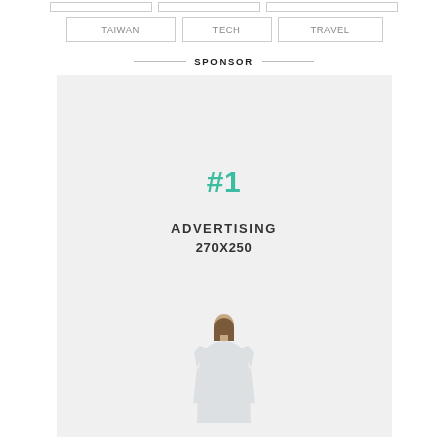TAIWAN  TECH  TRAVEL
SPONSOR
[Figure (other): Advertisement placeholder box showing '#1' in teal, 'ADVERTISING 270X250' in bold dark text, and a woman seen from behind in light clothing at the bottom, on a light gray background.]